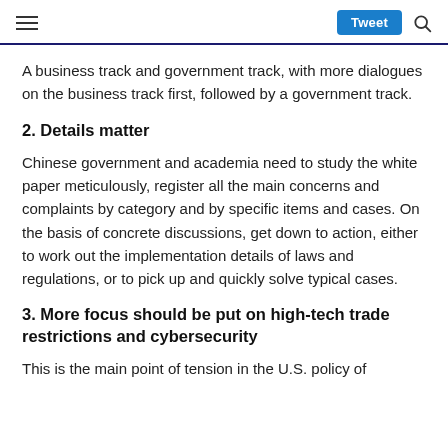≡  Tweet 🔍
A business track and government track, with more dialogues on the business track first, followed by a government track.
2. Details matter
Chinese government and academia need to study the white paper meticulously, register all the main concerns and complaints by category and by specific items and cases. On the basis of concrete discussions, get down to action, either to work out the implementation details of laws and regulations, or to pick up and quickly solve typical cases.
3. More focus should be put on high-tech trade restrictions and cybersecurity
This is the main point of tension in the U.S. policy of